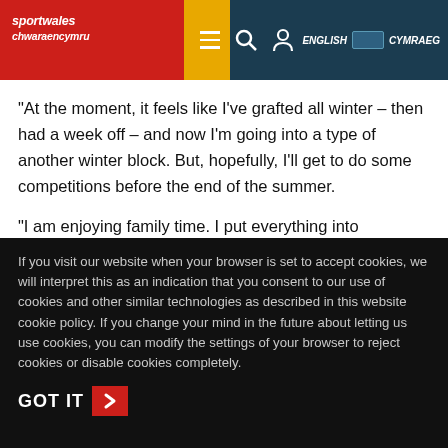[Figure (screenshot): Sport Wales / Chwaraeon Cymru website header with red background, logo in white italic text, yellow strip, dark teal nav bar with hamburger menu, search icon, person icon, ENGLISH toggle CYMRAEG language switcher]
“At the moment, it feels like I’ve grafted all winter – then had a week off – and now I’m going into a type of another winter block. But, hopefully, I’ll get to do some competitions before the end of the summer.
“I am enjoying family time. I put everything into throwing, but it drains me. Athletics is a selfish sport and you have do what’s best for you. It is very draining.
If you visit our website when your browser is set to accept cookies, we will interpret this as an indication that you consent to our use of cookies and other similar technologies as described in this website cookie policy. If you change your mind in the future about letting us use cookies, you can modify the settings of your browser to reject cookies or disable cookies completely.
GOT IT ›